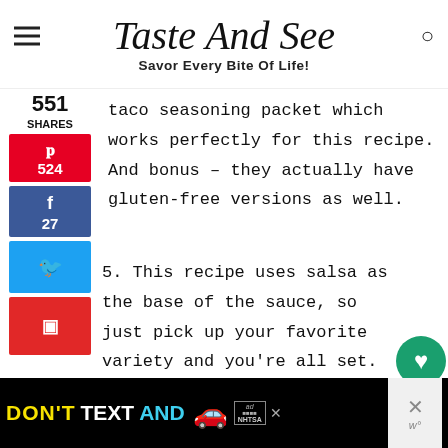Taste And See — Savor Every Bite Of Life!
taco seasoning packet which works perfectly for this recipe. And bonus – they actually have gluten-free versions as well.
5. This recipe uses salsa as the base of the sauce, so just pick up your favorite variety and you're all set.
[Figure (other): Advertisement banner: DON'T TEXT AND [car emoji] ad with NHTSA branding]